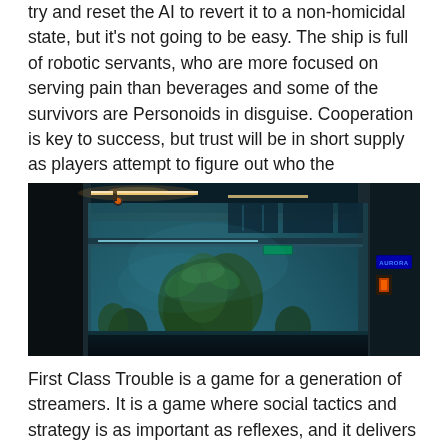try and reset the AI to revert it to a non-homicidal state, but it's not going to be easy. The ship is full of robotic servants, who are more focused on serving pain than beverages and some of the survivors are Personoids in disguise. Cooperation is key to success, but trust will be in short supply as players attempt to figure out who the Personoids in their ranks are.
[Figure (photo): Screenshot from First Class Trouble game showing a futuristic spaceship interior with a large atrium, tropical plants, blue-tinted atmospheric lighting, multi-level walkways, and an AURORA sign visible on the right side.]
First Class Trouble is a game for a generation of streamers. It is a game where social tactics and strategy is as important as reflexes, and it delivers a much needed social, emotional and dramatic gameplay which is